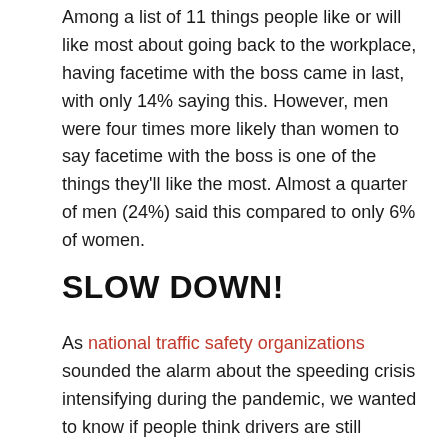Among a list of 11 things people like or will like most about going back to the workplace, having facetime with the boss came in last, with only 14% saying this. However, men were four times more likely than women to say facetime with the boss is one of the things they'll like the most. Almost a quarter of men (24%) said this compared to only 6% of women.
SLOW DOWN!
As national traffic safety organizations sounded the alarm about the speeding crisis intensifying during the pandemic, we wanted to know if people think drivers are still speeding more than usual.